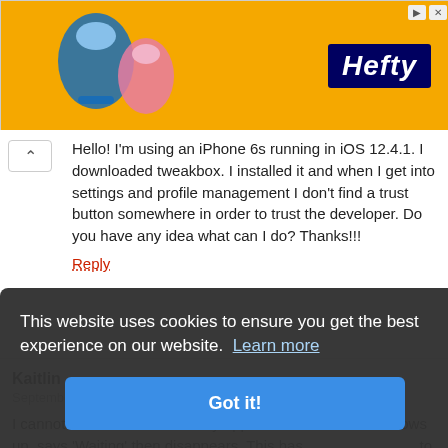[Figure (other): Orange Hefty advertisement banner with Hefty logo on the right and a product image on the left]
Hello! I'm using an iPhone 6s running in iOS 12.4.1. I downloaded tweakbox. I installed it and when I get into settings and profile management I don't find a trust button somewhere in order to trust the developer. Do you have any idea what can I do? Thanks!!!
Reply
Kaitlin
September 20, 2019
I cannot seem to download any apps from TweakBox. It shows up, says 'Waiting' then disappears. This has ... to fix it
This website uses cookies to ensure you get the best experience on our website. Learn more
Got it!